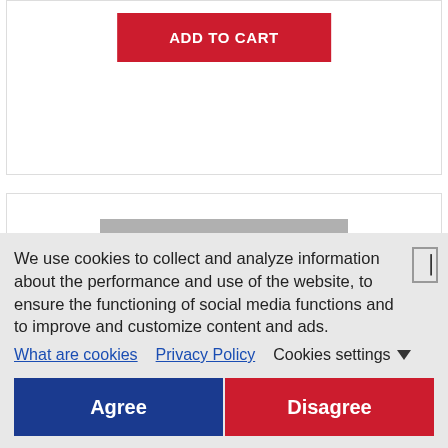[Figure (other): ADD TO CART button (red) on a product card]
[Figure (photo): Product image of a white angular decorative sculpture/car hood ornament on a gray background]
We use cookies to collect and analyze information about the performance and use of the website, to ensure the functioning of social media functions and to improve and customize content and ads.
What are cookies   Privacy Policy   Cookies settings ▼
Agree   Disagree